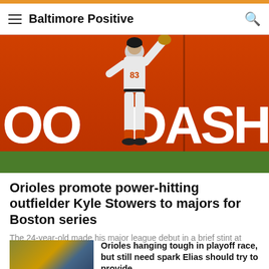Baltimore Positive
[Figure (photo): Baseball player wearing number 83 in gray Orioles uniform throwing a ball, in front of a red DoorDash outfield wall advertisement]
Orioles promote power-hitting outfielder Kyle Stowers to majors for Boston series
The 24-year-old made his major league debut in a brief stint at Toronto in June.
[Figure (photo): Small thumbnail image of a baseball player batting]
Orioles hanging tough in playoff race, but still need spark Elias should try to provide